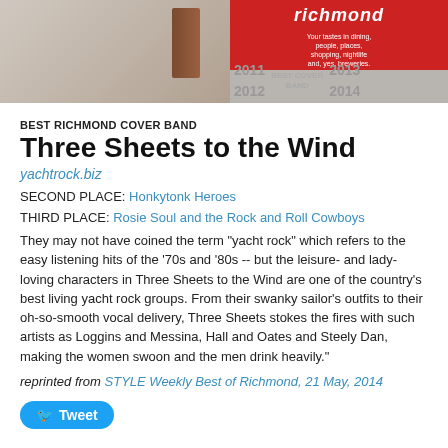[Figure (photo): Header image with two panels: left shows a magazine/book and red background with Richmond branding, right shows a gray panel with years 2011, 2012, 2013, 2014 and 'BEST COVER BAND' text]
BEST RICHMOND COVER BAND
Three Sheets to the Wind
yachtrock.biz
SECOND PLACE: Honkytonk Heroes
THIRD PLACE: Rosie Soul and the Rock and Roll Cowboys
They may not have coined the term "yacht rock" which refers to the easy listening hits of the '70s and '80s -- but the leisure- and lady-loving characters in Three Sheets to the Wind are one of the country's best living yacht rock groups. From their swanky sailor's outfits to their oh-so-smooth vocal delivery, Three Sheets stokes the fires with such artists as Loggins and Messina, Hall and Oates and Steely Dan, making the women swoon and the men drink heavily."
reprinted from STYLE Weekly Best of Richmond, 21 May, 2014
Tweet